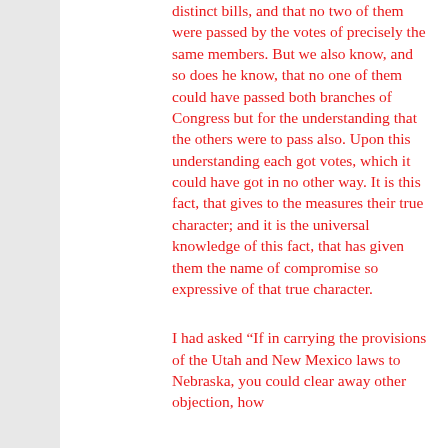distinct bills, and that no two of them were passed by the votes of precisely the same members. But we also know, and so does he know, that no one of them could have passed both branches of Congress but for the understanding that the others were to pass also. Upon this understanding each got votes, which it could have got in no other way. It is this fact, that gives to the measures their true character; and it is the universal knowledge of this fact, that has given them the name of compromise so expressive of that true character.
I had asked “If in carrying the provisions of the Utah and New Mexico laws to Nebraska, you could clear away other objection, how